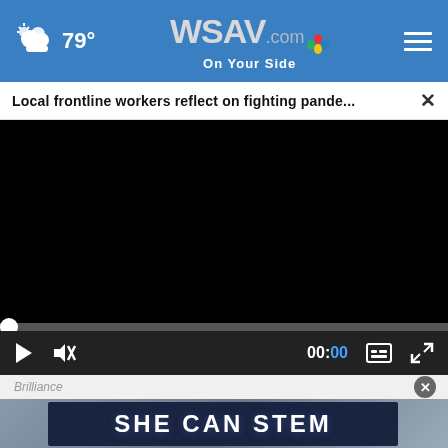[Figure (screenshot): WSAV.com website header with weather showing 79°, WSAV.com NBC logo in center, and hamburger menu on right, on blue background]
Local frontline workers reflect on fighting pande...
[Figure (screenshot): Black video player area with playback controls: play button, mute button, timestamp 00:00, captions and fullscreen icons]
Brilliance
[Figure (screenshot): SHE CAN STEM advertisement banner in dark navy background with white bold text]